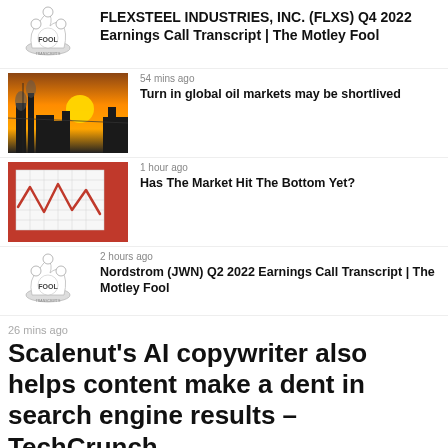[Figure (logo): Motley Fool logo (jester hat with FOOL text)]
FLEXSTEEL INDUSTRIES, INC. (FLXS) Q4 2022 Earnings Call Transcript | The Motley Fool
[Figure (photo): Industrial plant silhouette with orange sky and smoke]
54 mins ago
Turn in global oil markets may be shortlived
[Figure (photo): Graph paper with red zigzag line drawn on it, placed on red background]
1 hour ago
Has The Market Hit The Bottom Yet?
[Figure (logo): Motley Fool logo (jester hat with FOOL text)]
2 hours ago
Nordstrom (JWN) Q2 2022 Earnings Call Transcript | The Motley Fool
26 mins ago
Scalenut's AI copywriter also helps content make a dent in search engine results – TechCrunch